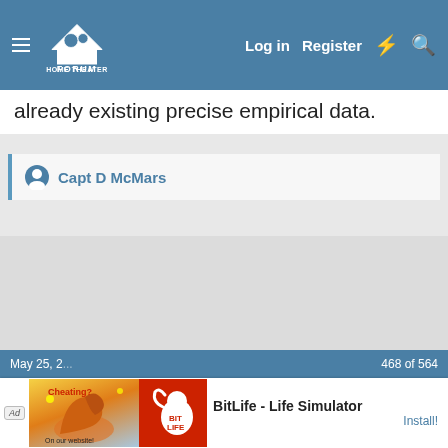[Figure (screenshot): Home Theater Forum website navigation bar with hamburger menu, logo, Log in, Register, lightning bolt icon, and search icon on a steel blue background]
already existing precise empirical data.
Capt D McMars
May 25, 2...   468 of 564
[Figure (screenshot): Mobile advertisement banner: Ad label, image of flexing arm with BitLife branding (yellow/orange/blue), red BitLife logo image, text 'BitLife - Life Simulator', Install! button link]